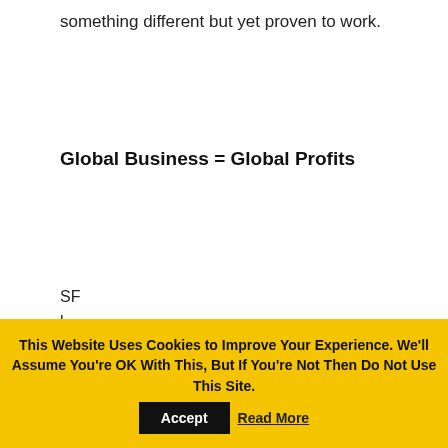something different but yet proven to work.
Global Business = Global Profits
SF
l
or
St
fO
[Figure (illustration): Two white 3D humanoid figures pushing and rolling a large blue globe of Earth]
This Website Uses Cookies to Improve Your Experience. We'll Assume You're OK With This, But If You're Not Then Do Not Use This Site. Accept Read More